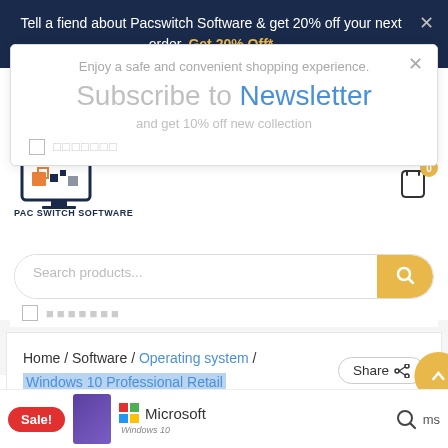Tell a fiend about Pacswitch Software & get 20% off your next order. Get 20% Off*
Enjoy a safe and convenient shopping experience.
Subscribe to Newsletter
and get 10% off new collection
[Figure (logo): PAC SWITCH SOFTWARE logo with monitor icon]
Search products...
Home / Software / Operating system / Windows 10 Professional Retail
Share
Sale!
[Figure (photo): Microsoft Windows 10 product box and Microsoft logo at bottom of page]